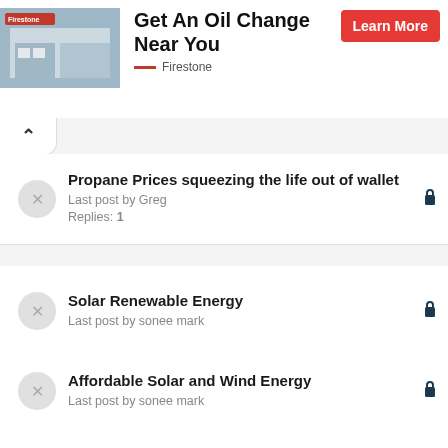[Figure (screenshot): Firestone ad banner with store photo, headline 'Get An Oil Change Near You', and a red Learn More button]
Propane Prices squeezing the life out of wallet
Last post by Greg
Replies: 1
Solar Renewable Energy
Last post by sonee mark
Affordable Solar and Wind Energy
Last post by sonee mark
Understanding The Advantage Of Renewable Energy
Last post by sonee mark
Cold DW
Last post by Greg
Replies: 2